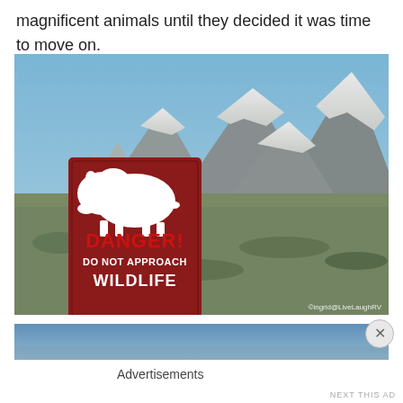magnificent animals until they decided it was time to move on.
[Figure (photo): Outdoor scene with a red danger sign reading 'DANGER! DO NOT APPROACH WILDLIFE' with a bison silhouette, set against the Grand Teton mountain range with snow-capped peaks and sagebrush flatlands. Watermark reads @ingrid@LiveLaughRV]
[Figure (photo): Partial advertisement image showing blue sky, partially visible with a close (X) button overlay]
Advertisements